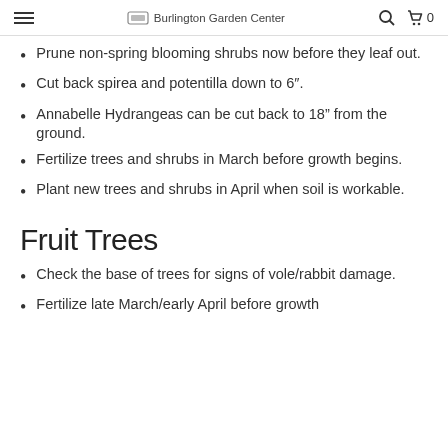Burlington Garden Center
Prune non-spring blooming shrubs now before they leaf out.
Cut back spirea and potentilla down to 6".
Annabelle Hydrangeas can be cut back to 18" from the ground.
Fertilize trees and shrubs in March before growth begins.
Plant new trees and shrubs in April when soil is workable.
Fruit Trees
Check the base of trees for signs of vole/rabbit damage.
Fertilize late March/early April before growth